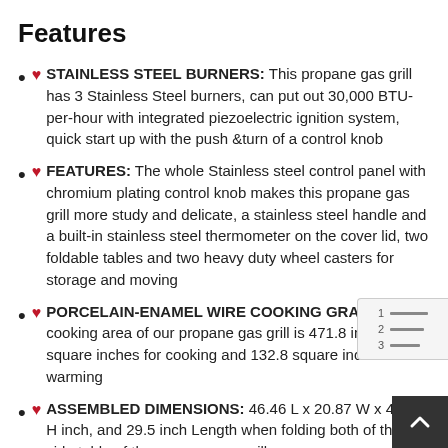Features
❤ STAINLESS STEEL BURNERS: This propane gas grill has 3 Stainless Steel burners, can put out 30,000 BTU-per-hour with integrated piezoelectric ignition system, quick start up with the push &turn of a control knob
❤ FEATURES: The whole Stainless steel control panel with chromium plating control knob makes this propane gas grill more study and delicate, a stainless steel handle and a built-in stainless steel thermometer on the cover lid, two foldable tables and two heavy duty wheel casters for storage and moving
❤ PORCELAIN-ENAMEL WIRE COOKING GRATES: The cooking area of our propane gas grill is 471.8 include 339 square inches for cooking and 132.8 square inches for warming
❤ ASSEMBLED DIMENSIONS: 46.46 L x 20.87 W x 41.14 H inch, and 29.5 inch Length when folding both of the side table of the propane gas grill
❤ MULTIFUNCTION AND PRACTICAL: This propa...